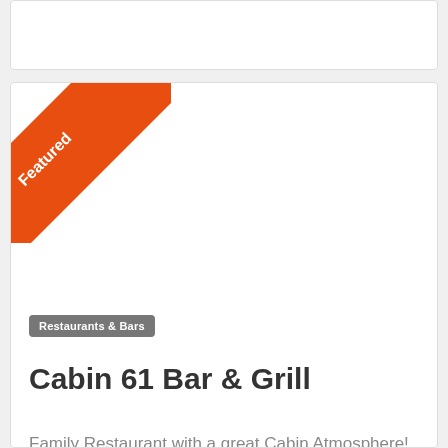[Figure (illustration): Featured ribbon/badge — orange diagonal triangle with white text reading 'Featured']
Restaurants & Bars
Cabin 61 Bar & Grill
Family Restaurant with a great Cabin Atmosphere! Stop by and spend some time at the Cabin!